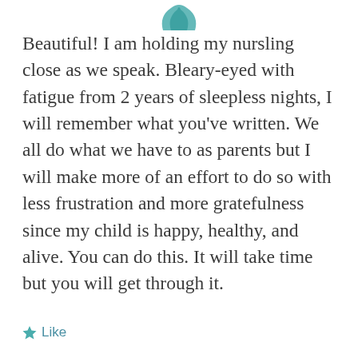[Figure (logo): Teal/turquoise decorative logo or icon at top center, partially cropped]
Beautiful! I am holding my nursling close as we speak. Bleary-eyed with fatigue from 2 years of sleepless nights, I will remember what you've written. We all do what we have to as parents but I will make more of an effort to do so with less frustration and more gratefulness since my child is happy, healthy, and alive. You can do this. It will take time but you will get through it.
★ Like